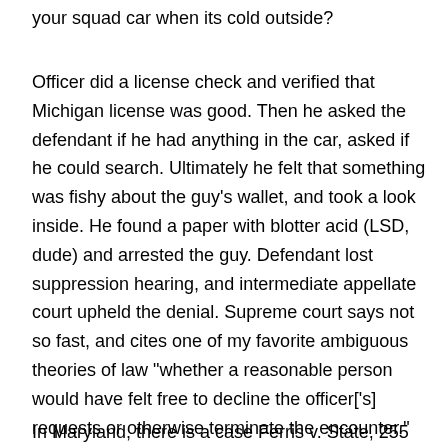your squad car when its cold outside?
Officer did a license check and verified that Michigan license was good. Then he asked the defendant if he had anything in the car, asked if he could search. Ultimately he felt that something was fishy about the guy's wallet, and took a look inside. He found a paper with blotter acid (LSD, dude) and arrested the guy. Defendant lost suppression hearing, and intermediate appellate court upheld the denial. Supreme court says not so fast, and cites one of my favorite ambiguous theories of law "whether a reasonable person would have felt free to decline the officer['s] requests or otherwise terminate the encounter." Florida v. Bostick, 501 U.S. 429, 115 L. Ed. 2d 389, 111 S.Ct. 2382, 2387 (1991).
In Maryland, there is a case Ferris v. State, 255 Md. 356